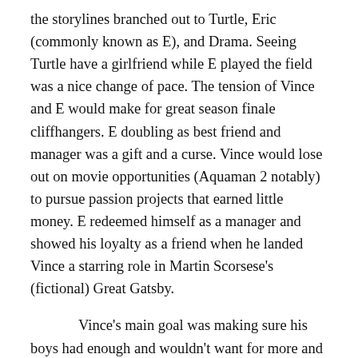the storylines branched out to Turtle, Eric (commonly known as E), and Drama. Seeing Turtle have a girlfriend while E played the field was a nice change of pace. The tension of Vince and E would make for great season finale cliffhangers. E doubling as best friend and manager was a gift and a curse. Vince would lose out on movie opportunities (Aquaman 2 notably) to pursue passion projects that earned little money. E redeemed himself as a manager and showed his loyalty as a friend when he landed Vince a starring role in Martin Scorsese's (fictional) Great Gatsby.
Vince's main goal was making sure his boys had enough and wouldn't want for more and better yet in the end they actually thrived without him. Turtle's business venture actually panned out, E finally settled down with Sloan, and even Drama landed a steady role. The series finale served its purpose and the subsequent movie is set to be released soon. Whenever I hang with my